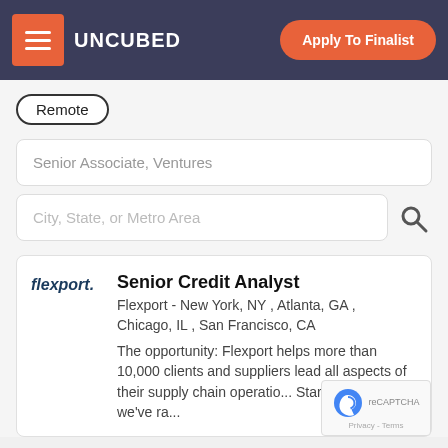UNCUBED | Apply To Finalist
Remote
Senior Associate, Ventures
City, State, or Metro Area
Senior Credit Analyst
Flexport - New York, NY , Atlanta, GA , Chicago, IL , San Francisco, CA
The opportunity: Flexport helps more than 10,000 clients and suppliers lead all aspects of their supply chain operatio... Started in 2013, we've ra...